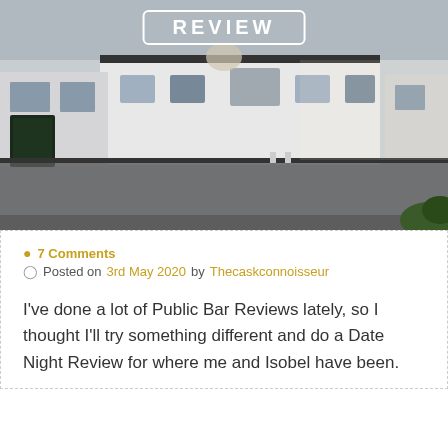[Figure (photo): Exterior photo of a white pub/inn building on a road, with a road sign board on the left side. The photo has a 'REVIEW' label overlay at the top center inside a white rounded rectangle border.]
7 Comments
Posted on 3rd May 2020 by Thecaskconnoisseur
I've done a lot of Public Bar Reviews lately, so I thought I'll try something different and do a Date Night Review for where me and Isobel have been.